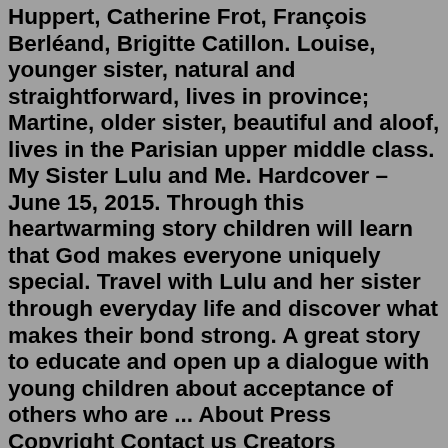Huppert, Catherine Frot, François Berléand, Brigitte Catillon. Louise, younger sister, natural and straightforward, lives in province; Martine, older sister, beautiful and aloof, lives in the Parisian upper middle class. My Sister Lulu and Me. Hardcover – June 15, 2015. Through this heartwarming story children will learn that God makes everyone uniquely special. Travel with Lulu and her sister through everyday life and discover what makes their bond strong. A great story to educate and open up a dialogue with young children about acceptance of others who are ... About Press Copyright Contact us Creators Advertise Developers Terms Privacy Policy & Safety How YouTube works Test new features Press Copyright Contact us Creators ... Step Brothers And Sisters : My step sister is nice to me in public but bullies me in private - what should I do? VideojugFamilyEducation. 1:33. Sister Is Always Love to her Brother ! So Please Take Care Your Sisters. Dailyfun Zone. 1:50. The eldest sister adopted her brothers and sisterOct 13, 2018 · My younger